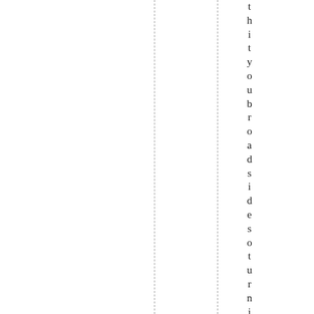t h i t y o u b r o a d s i d e s o t u r n i n t o